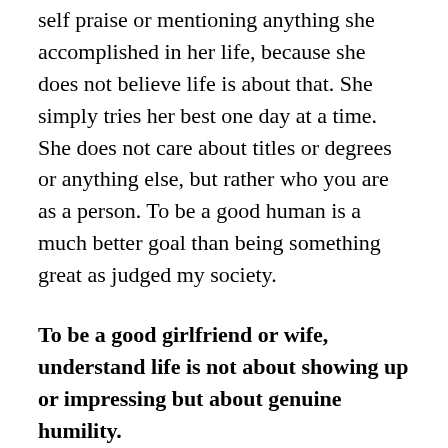self praise or mentioning anything she accomplished in her life, because she does not believe life is about that. She simply tries her best one day at a time. She does not care about titles or degrees or anything else, but rather who you are as a person. To be a good human is a much better goal than being something great as judged my society.
To be a good girlfriend or wife, understand life is not about showing up or impressing but about genuine humility.
When a person sees their own faults or perceived faults it makes it opens the possibility of improvement.